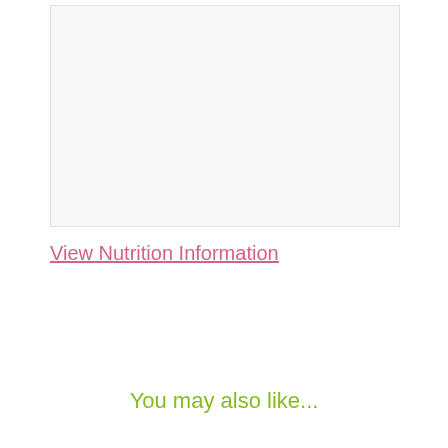[Figure (photo): Image placeholder area, appears blank or light gray]
View Nutrition Information
You may also like...